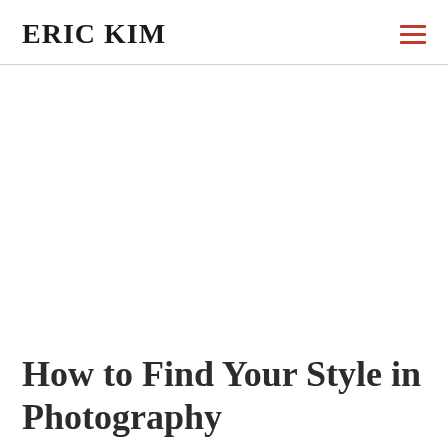ERIC KIM
How to Find Your Style in Photography